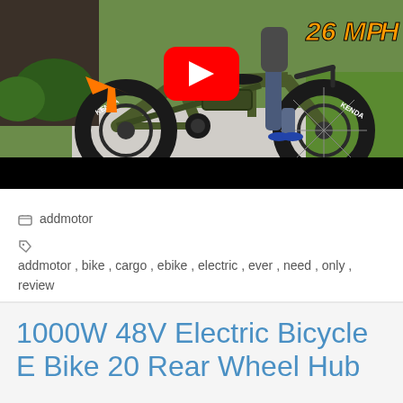[Figure (screenshot): YouTube video thumbnail showing a green electric cargo bike (Addmotor brand) with fat tires and Kenda branding. An orange arrow points to the bike frame. A YouTube play button is visible in the center. Text '26 MPH' appears in orange on the upper right. The bottom portion is a black bar.]
addmotor
addmotor , bike , cargo , ebike , electric , ever , need , only , review
1000W 48V Electric Bicycle E Bike 20 Rear Wheel Hub